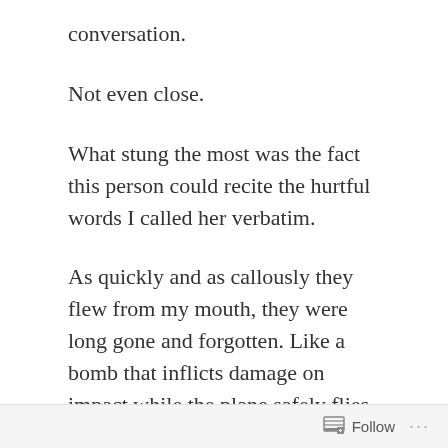conversation.
Not even close.
What stung the most was the fact this person could recite the hurtful words I called her verbatim.
As quickly and as callously they flew from my mouth, they were long gone and forgotten. Like a bomb that inflicts damage on impact while the plane safely flies away.
But for her they lingered. Etched in memory all these years.
When I called her an “MR”, the neighbor kids knew it
Follow ...